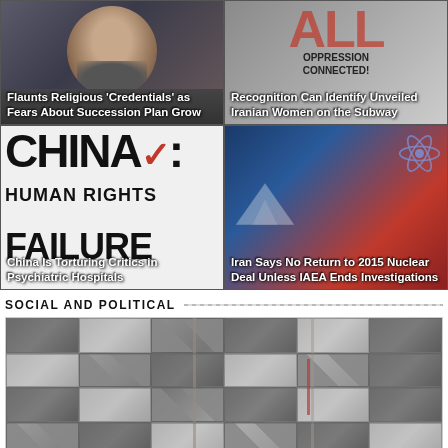[Figure (photo): News card: man with beard and scarf, headline about flaunting religious credentials and succession plan fears]
[Figure (photo): News card: facial recognition identifying unveiled Iranian women on the subway, with protest imagery]
[Figure (photo): News card: China Human Rights Failure graphic with China torturing critics in psychiatric hospitals headline]
[Figure (photo): News card: Iran nuclear deal headline with mountain and atomic imagery, Iran says no return to 2015 nuclear deal unless IAEA ends investigations]
SOCIAL AND POLITICAL
[Figure (photo): Collapsed or damaged building structure showing destroyed floors with hanging debris and metal framework]